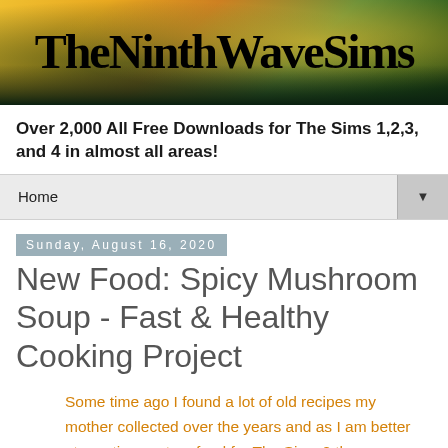[Figure (illustration): TheNinthWaveSims banner logo with artistic painted background in yellow, green, and dark tones]
Over 2,000 All Free Downloads for The Sims 1,2,3, and 4 in almost all areas!
Home ▼
Sunday, August 16, 2020
New Food: Spicy Mushroom Soup - Fast & Healthy Cooking Project
Some time ago I found a lot of old recipes my mother collected over the years and as I am better at creating custom food for The Sims 2 than cooking the dishes myself, I decided to create them and share them with you.